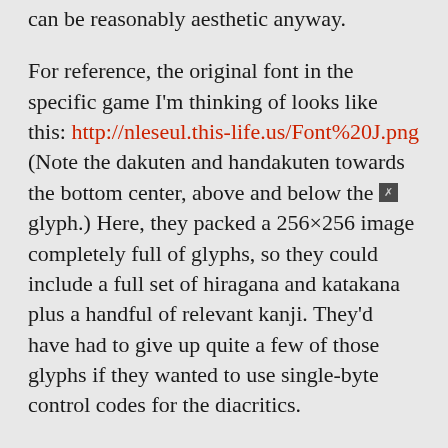can be reasonably aesthetic anyway.
For reference, the original font in the specific game I'm thinking of looks like this: http://nleseul.this-life.us/Font%20J.png (Note the dakuten and handakuten towards the bottom center, above and below the [broken glyph] glyph.) Here, they packed a 256×256 image completely full of glyphs, so they could include a full set of hiragana and katakana plus a handful of relevant kanji. They'd have had to give up quite a few of those glyphs if they wanted to use single-byte control codes for the diacritics.
Granted, it doesn't look like the developers of this particular game thought too hard about optimizing their text storage in the first place. I've been able to fit quite a bit of extra English text in by using those